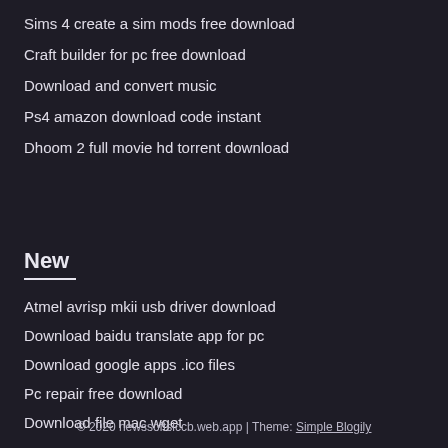Sims 4 create a sim mods free download
Craft builder for pc free download
Download and convert music
Ps4 amazon download code instant
Dhoom 2 full movie hd torrent download
New
Atmel avrisp mkii usb driver download
Download baidu translate app for pc
Download google apps .ico files
Pc repair free download
Download file mac wget
© 2020 newssoftslccb.web.app | Theme: Simple Blogily